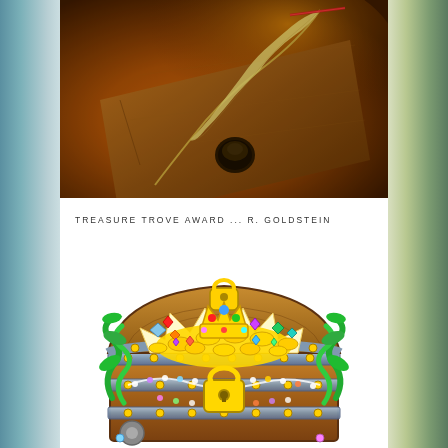[Figure (photo): Close-up photograph of an old leather-bound book with a golden quill feather pen resting on top, warm orange and brown tones, inkwell visible]
TREASURE TROVE AWARD ... R. GOLDSTEIN
[Figure (illustration): Colorful cartoon illustration of an open treasure chest overflowing with gold coins, gems, diamonds, a crown, pearls and jewels, with green seaweed on the sides and a gold padlock]